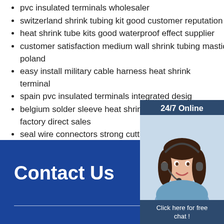pvc insulated terminals wholesaler
switzerland shrink tubing kit good customer reputation
heat shrink tube kits good waterproof effect supplier
customer satisfaction medium wall shrink tubing mastic poland
easy install military cable harness heat shrink terminal
spain pvc insulated terminals integrated design
belgium solder sleeve heat shrink butt wire connectors factory direct sales
seal wire connectors strong cutting resistance manufacturers
hungary conductive heat shrink tubing complete
reasonably priced pvdf heat shrink tubing france
ship cable harness heat shrink tube
[Figure (infographic): Customer service chat widget with '24/7 Online' header, photo of woman with headset, 'Click here for free chat!' text, and orange QUOTATION button]
Contact Us